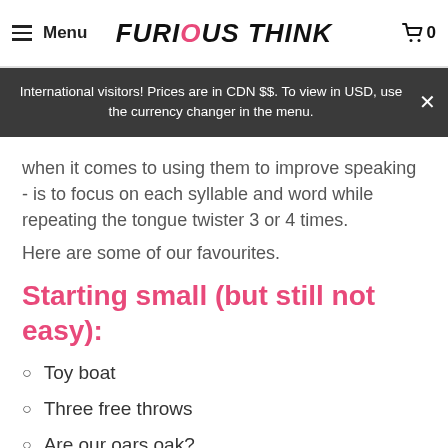Menu | FURIOUS THINK | 0
International visitors! Prices are in CDN $$. To view in USD, use the currency changer in the menu.
when it comes to using them to improve speaking - is to focus on each syllable and word while repeating the tongue twister 3 or 4 times.
Here are some of our favourites.
Starting small (but still not easy):
Toy boat
Three free throws
Are our oars oak?